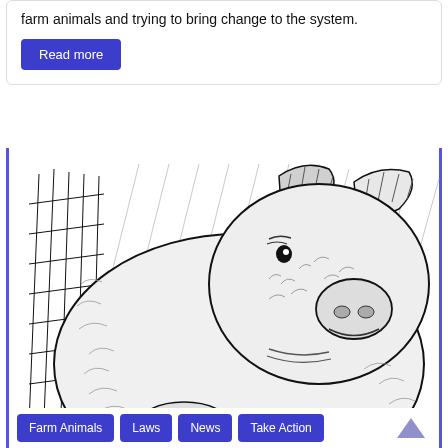farm animals and trying to bring change to the system.
Read more
[Figure (illustration): Black and white pen-and-ink sketch of a pig sitting facing forward, with a barn or wooden structure in the background. The pig has prominent ears and a round snout.]
Farm Animals
Laws
News
Take Action